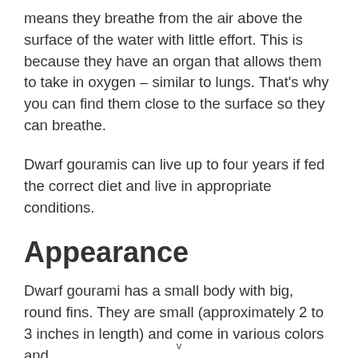means they breathe from the air above the surface of the water with little effort. This is because they have an organ that allows them to take in oxygen – similar to lungs. That's why you can find them close to the surface so they can breathe.
Dwarf gouramis can live up to four years if fed the correct diet and live in appropriate conditions.
Appearance
Dwarf gourami has a small body with big, round fins. They are small (approximately 2 to 3 inches in length) and come in various colors and
v